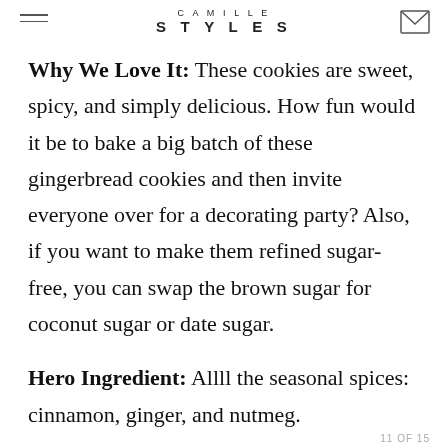CAMILLE STYLES
Why We Love It: These cookies are sweet, spicy, and simply delicious. How fun would it be to bake a big batch of these gingerbread cookies and then invite everyone over for a decorating party? Also, if you want to make them refined sugar-free, you can swap the brown sugar for coconut sugar or date sugar.
Hero Ingredient: Allll the seasonal spices: cinnamon, ginger, and nutmeg.
Get the recipe.
11 OF 15